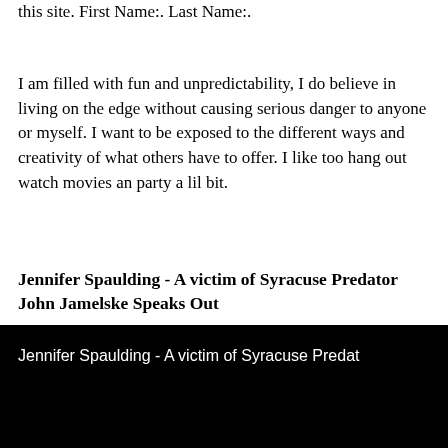this site. First Name:. Last Name:.
I am filled with fun and unpredictability, I do believe in living on the edge without causing serious danger to anyone or myself. I want to be exposed to the different ways and creativity of what others have to offer. I like too hang out watch movies an party a lil bit.
Jennifer Spaulding - A victim of Syracuse Predator John Jamelske Speaks Out
[Figure (screenshot): Black video player screen with white text reading: Jennifer Spaulding - A victim of Syracuse Preda...]